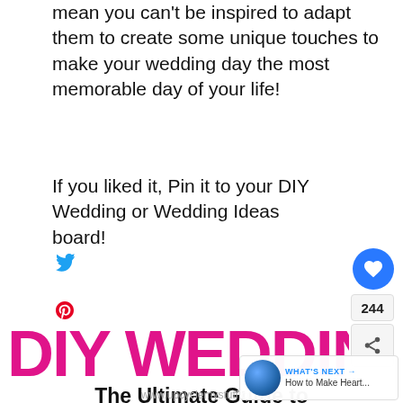mean you can't be inspired to adapt them to create some unique touches to make your wedding day the most memorable day of your life!
If you liked it, Pin it to your DIY Wedding or Wedding Ideas board!
[Figure (other): DIY Wedding blog post image with bold magenta 'DIY WEDDING' title, subtitle 'The Ultimate Guide to Your Upcycled Wedding', social sharing buttons (heart: 244), What's Next overlay]
www.upcyclemystuff.com